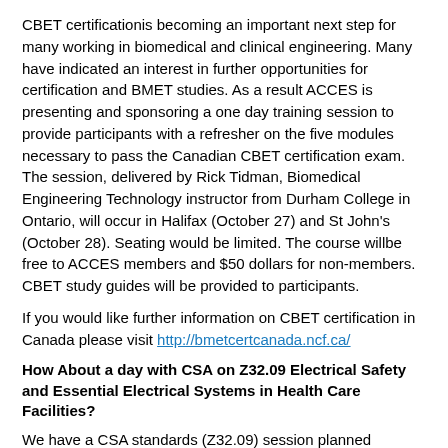CBET certificationis becoming an important next step for many working in biomedical and clinical engineering. Many have indicated an interest in further opportunities for certification and BMET studies. As a result ACCES is presenting and sponsoring a one day training session to provide participants with a refresher on the five modules necessary to pass the Canadian CBET certification exam. The session, delivered by Rick Tidman, Biomedical Engineering Technology instructor from Durham College in Ontario, will occur in Halifax (October 27) and St John's (October 28). Seating would be limited. The course willbe free to ACCES members and $50 dollars for non-members. CBET study guides will be provided to participants.
If you would like further information on CBET certification in Canada please visit http://bmetcertcanada.ncf.ca/
How About a day with CSA on Z32.09 Electrical Safety and Essential Electrical Systems in Health Care Facilities?
We have a CSA standards (Z32.09) session planned coincide with the CBET training. Michel Brossoit, of the Canadian Standards Association, will be presenting z32.09Electrical Safety and Essential Electrical Systems in Health Care Facilities. These sessions will take place in Halifax on October 28th and St John's on October 29th. The course will be free to ACCES members and $50 dollars for non-members.
Registration...